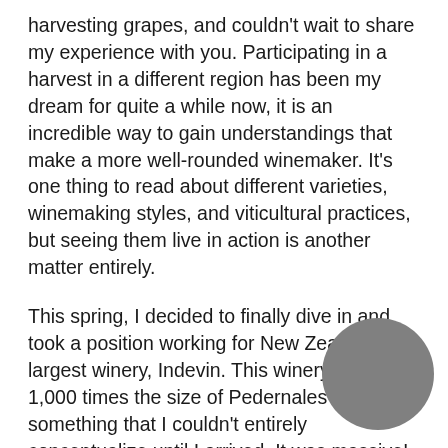harvesting grapes, and couldn't wait to share my experience with you. Participating in a harvest in a different region has been my dream for quite a while now, it is an incredible way to gain understandings that make a more well-rounded winemaker. It's one thing to read about different varieties, winemaking styles, and viticultural practices, but seeing them live in action is another matter entirely.
This spring, I decided to finally dive in and took a position working for New Zealand's largest winery, Indevin. This winery is a sheer 1,000 times the size of Pedernales Cellars, something that I couldn't entirely conceptualize until I arrived. It was massive! To paint you a picture, Indevin refers to its tank rooms (some of which were outdoors and a whopping 50 meters tall) as “tank farms.” These areas were so large that they were divided into North, East, South, and West sections. According to my Fit Bit, I walked 8 to 11 miles a day at work – half of which I probably did walking to and from the
[Figure (illustration): A gray circle in the bottom-right corner of the page, partially overlapping the text.]